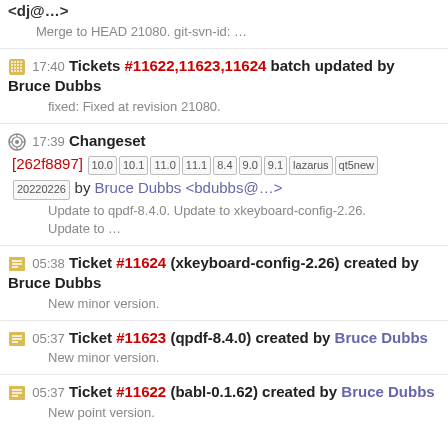<dj@...>
Merge to HEAD 21080. git-svn-id: …
17:40 Tickets #11622,11623,11624 batch updated by Bruce Dubbs
fixed: Fixed at revision 21080.
17:39 Changeset [262f8897] 10.0 10.1 11.0 11.1 8.4 9.0 9.1 lazarus qt5new 20220226 by Bruce Dubbs <bdubbs@...>
Update to qpdf-8.4.0. Update to xkeyboard-config-2.26. Update to …
05:38 Ticket #11624 (xkeyboard-config-2.26) created by Bruce Dubbs
New minor version.
05:37 Ticket #11623 (qpdf-8.4.0) created by Bruce Dubbs
New minor version.
05:37 Ticket #11622 (babl-0.1.62) created by Bruce Dubbs
New point version.